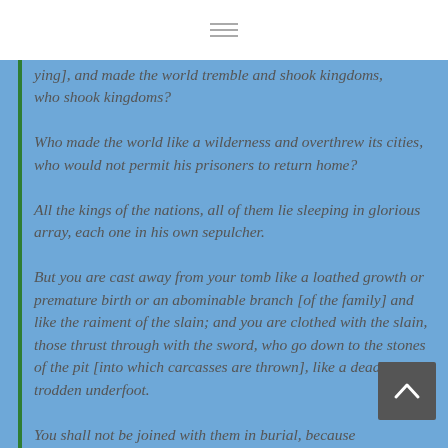who shook kingdoms? Who made the world like a wilderness and overthrew its cities, who would not permit his prisoners to return home? All the kings of the nations, all of them lie sleeping in glorious array, each one in his own sepulcher. But you are cast away from your tomb like a loathed growth or premature birth or an abominable branch [of the family] and like the raiment of the slain; and you are clothed with the slain, those thrust through with the sword, who go down to the stones of the pit [into which carcasses are thrown], like a dead body trodden underfoot. You shall not be joined with them in burial, because